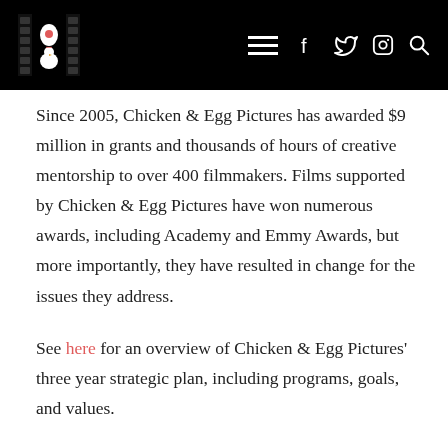Chicken & Egg Pictures website header with logo, hamburger menu, Facebook, Twitter, Instagram, and Search icons
Since 2005, Chicken & Egg Pictures has awarded $9 million in grants and thousands of hours of creative mentorship to over 400 filmmakers. Films supported by Chicken & Egg Pictures have won numerous awards, including Academy and Emmy Awards, but more importantly, they have resulted in change for the issues they address.
See here for an overview of Chicken & Egg Pictures' three year strategic plan, including programs, goals, and values.